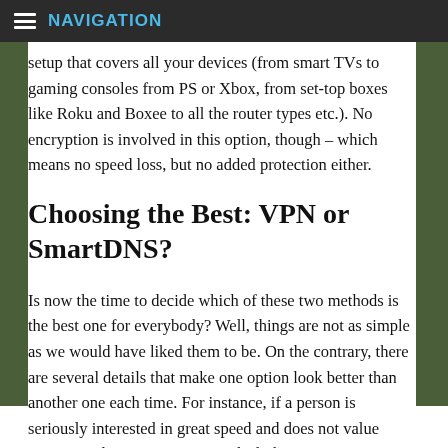NAVIGATION
setup that covers all your devices (from smart TVs to gaming consoles from PS or Xbox, from set-top boxes like Roku and Boxee to all the router types etc.). No encryption is involved in this option, though – which means no speed loss, but no added protection either.
Choosing the Best: VPN or SmartDNS?
Is now the time to decide which of these two methods is the best one for everybody? Well, things are not as simple as we would have liked them to be. On the contrary, there are several details that make one option look better than another one each time. For instance, if a person is seriously interested in great speed and does not value privacy and anonymity a great deal, then an inexpensive solution such as the SmartDNS service would be ideal. On the other hand, if a person wants to remain protected at all times and does not want to jeopardize that for the sake of a few dollars or for getting super-fast streaming